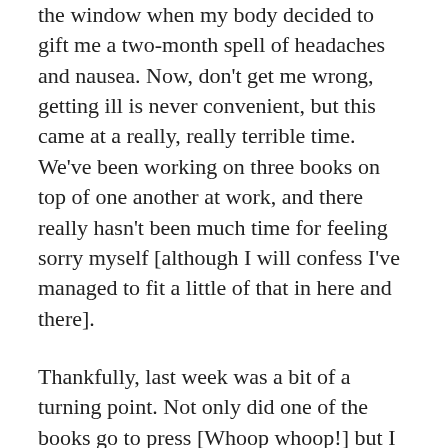the window when my body decided to gift me a two-month spell of headaches and nausea. Now, don't get me wrong, getting ill is never convenient, but this came at a really, really terrible time. We've been working on three books on top of one another at work, and there really hasn't been much time for feeling sorry myself [although I will confess I've managed to fit a little of that in here and there].
Thankfully, last week was a bit of a turning point. Not only did one of the books go to press [Whoop whoop!] but I finally woke up without a nagging pain in the side of my face and a desire to crawl back under the covers. It really is amazing how good a couple of months of feeling awful can make you feel.